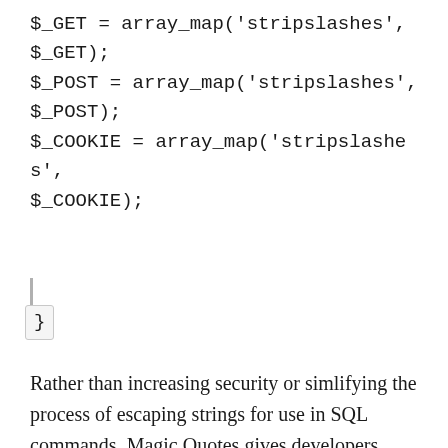$_GET = array_map('stripslashes', $_GET);
$_POST = array_map('stripslashes', $_POST);
$_COOKIE = array_map('stripslashes', $_COOKIE);
}
Rather than increasing security or simlifying the process of escaping strings for use in SQL commands, Magic Quotes gives developers additional headaches and can, in some situations,